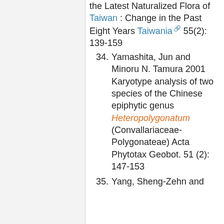(continuation) the Latest Naturalized Flora of Taiwan : Change in the Past Eight Years Taiwania 55(2): 139-159
34. Yamashita, Jun and Minoru N. Tamura 2001 Karyotype analysis of two species of the Chinese epiphytic genus Heteropolygonatum (Convallariaceae-Polygonateae) Acta Phytotax Geobot. 51 (2): 147-153
35. Yang, Sheng-Zehn and